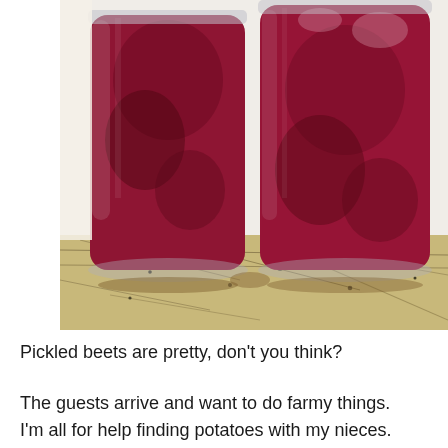[Figure (photo): Two glass mason jars filled with deep crimson/magenta pickled beets, sitting on a granite countertop. The jars are viewed from the side, showing the rich red beet liquid and chunked beets inside. The left jar is slightly larger and in front; the right jar is slightly behind. Background is a light-colored kitchen wall.]
Pickled beets are pretty, don't you think?
The guests arrive and want to do farmy things. I'm all for help finding potatoes with my nieces.